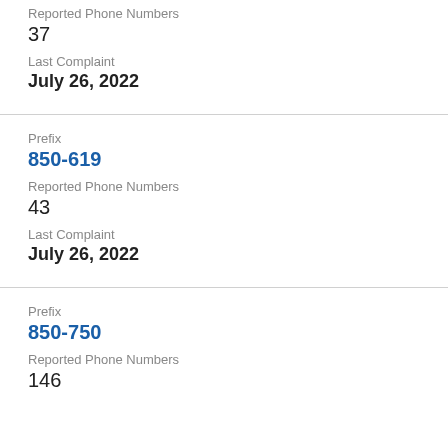Reported Phone Numbers
37
Last Complaint
July 26, 2022
Prefix
850-619
Reported Phone Numbers
43
Last Complaint
July 26, 2022
Prefix
850-750
Reported Phone Numbers
146